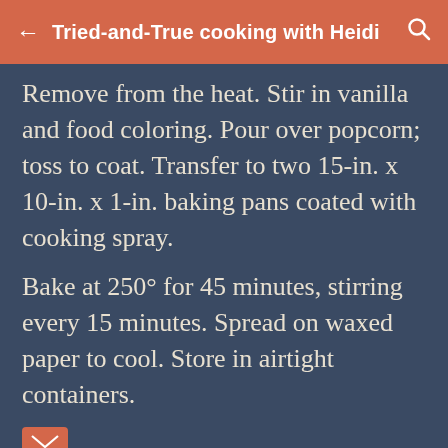Tried-and-True cooking with Heidi
Remove from the heat. Stir in vanilla and food coloring. Pour over popcorn; toss to coat. Transfer to two 15-in. x 10-in. x 1-in. baking pans coated with cooking spray.
Bake at 250° for 45 minutes, stirring every 15 minutes. Spread on waxed paper to cool. Store in airtight containers.
[Figure (other): Email envelope icon button (orange/salmon colored)]
SWEETS
[Figure (other): Share icon (three circles connected by lines)]